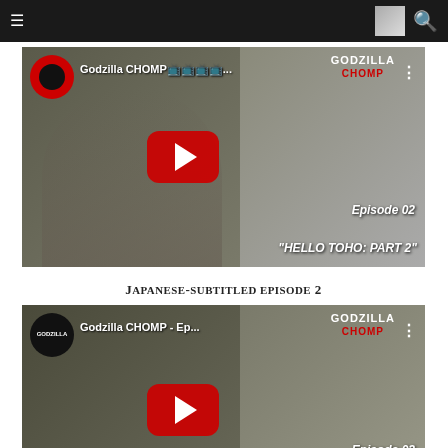Navigation bar with hamburger menu, avatar, and search icon
[Figure (screenshot): YouTube video thumbnail for Godzilla CHOMP episode 02 'Hello Toho: Part 2' showing a man in a white shirt on the left and a monster image on the right with a red play button]
Japanese-subtitled episode 2
[Figure (screenshot): YouTube video thumbnail for Godzilla CHOMP episode 03 'Beasts in the Basement: Part 1' showing a man holding papers on the left and a monster image on the right with a red play button]